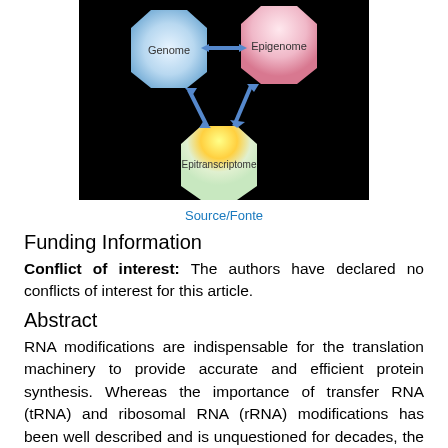[Figure (schematic): Diagram on black background showing three rounded hexagonal shapes labeled Genome (top left, blue-white gradient), Epigenome (top right, pink-white gradient), and Epitranscriptome (bottom center, yellow-white gradient), connected by blue double-headed arrows indicating interactions among all three.]
Source/Fonte
Funding Information
Conflict of interest: The authors have declared no conflicts of interest for this article.
Abstract
RNA modifications are indispensable for the translation machinery to provide accurate and efficient protein synthesis. Whereas the importance of transfer RNA (tRNA) and ribosomal RNA (rRNA) modifications has been well described and is unquestioned for decades, the significance